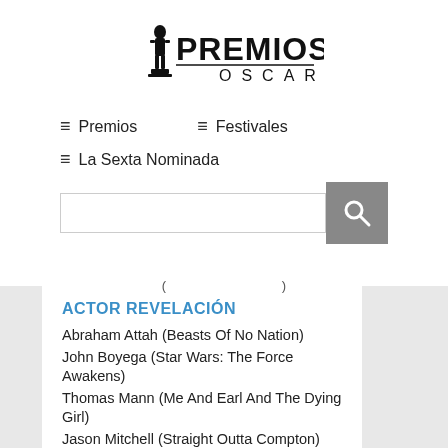[Figure (logo): Premios Oscar logo with Oscar statuette and bold text PREMIOS OSCAR]
≡ Premios   ≡ Festivales
≡ La Sexta Nominada
ACTOR REVELACIÓN
Abraham Attah (Beasts Of No Nation)
John Boyega (Star Wars: The Force Awakens)
Thomas Mann (Me And Earl And The Dying Girl)
Jason Mitchell (Straight Outta Compton)
Jacob Tremblay (Room)